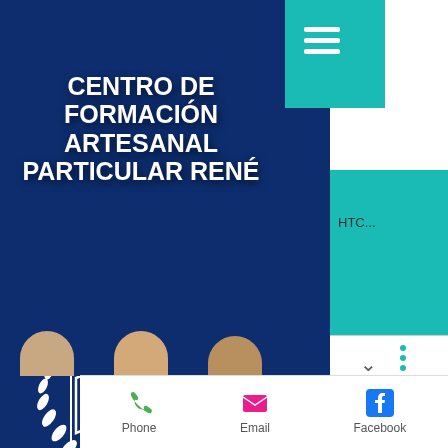[Figure (screenshot): Mobile webpage screenshot showing Academia René – Centro de Formación Artesanal Particular René. Dark navy blue background with white bold title text and white academy logo. Teal hamburger menu button top right. Bottom contact bar with Phone, Email, Facebook icons.]
CENTRO DE FORMACIÓN ARTESANAL PARTICULAR RENÉ
[Figure (logo): Academia René logo with open book, laurel wreath, stylized R with swoosh, text 'ACADEMIA RENÉ' and 'desde 1968']
Phone
Email
Facebook